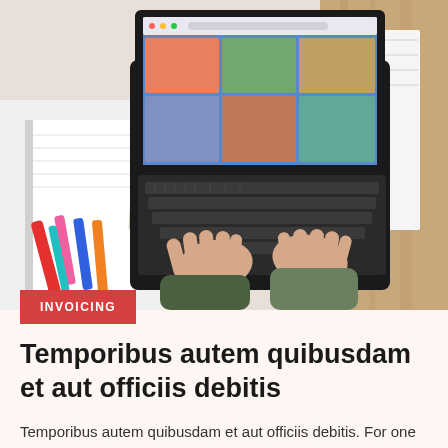[Figure (photo): Overhead/top-down view of a person's hands typing on a black laptop keyboard. The laptop screen shows a photo grid/collage. To the left are colorful pens/markers and a notebook on a white surface. To the right is a wooden surface with a book/magazine.]
INVOICING
Temporibus autem quibusdam et aut officiis debitis
Temporibus autem quibusdam et aut officiis debitis. For one thing, it meant I could live in a more interesting world than the one around me.